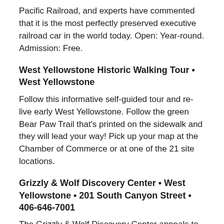Pacific Railroad, and experts have commented that it is the most perfectly preserved executive railroad car in the world today. Open: Year-round. Admission: Free.
West Yellowstone Historic Walking Tour • West Yellowstone
Follow this informative self-guided tour and re-live early West Yellowstone. Follow the green Bear Paw Trail that's printed on the sidewalk and they will lead your way! Pick up your map at the Chamber of Commerce or at one of the 21 site locations.
Grizzly & Wolf Discovery Center • West Yellowstone • 201 South Canyon Street • 406-646-7001
The Grizzly & Wolf Discovery Center appeals to visitors of all ages. Visitors learn, see and experience the daily life of bears and wolves, as well as other wildlife in the area. An interactive museum exhibit compares and contrasts the bear of myth, art, literature, history, and folklore with the bear as scientists, outdoorsman, and researchers know it. Open: Year-round, daylight hours. Admission for two consecutive days: Adults (12 and older) $12.00; Seniors (62